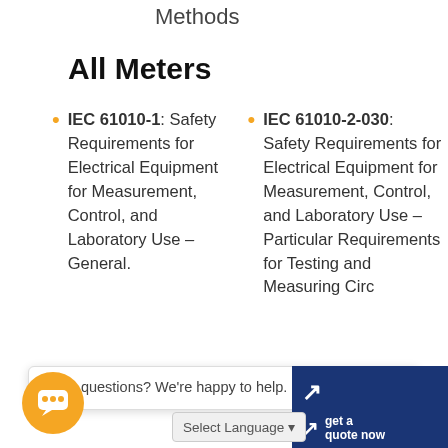Methods
All Meters
IEC 61010-1: Safety Requirements for Electrical Equipment for Measurement, Control, and Laboratory Use – General.
IEC 61010-2-030: Safety Requirements for Electrical Equipment for Measurement, Control, and Laboratory Use – Particular Requirements for Testing and Measuring Circ
Have questions? We're happy to help.